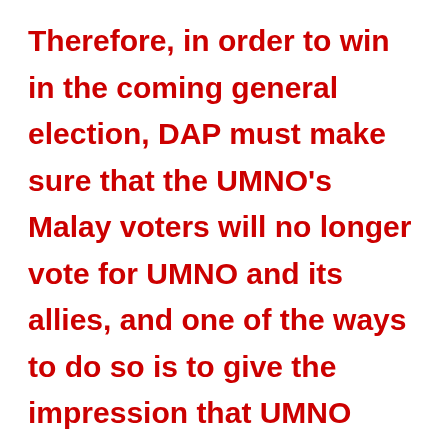Therefore, in order to win in the coming general election, DAP must make sure that the UMNO's Malay voters will no longer vote for UMNO and its allies, and one of the ways to do so is to give the impression that UMNO leaders are no longer fighting for Islam and are as bad as the progressive Muslims leaders of DAP and friends.